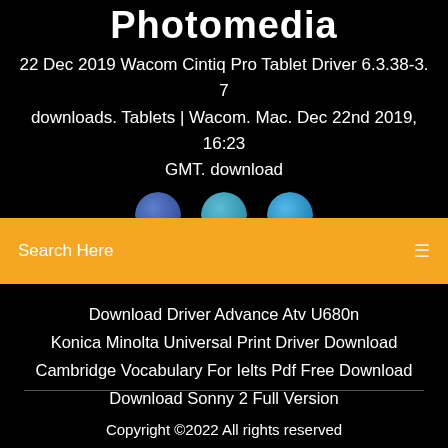Photomedia
22 Dec 2019 Wacom Cintiq Pro Tablet Driver 6.3.38-3. 7 downloads. Tablets | Wacom. Mac. Dec 22nd 2019, 16:23 GMT. download
[Figure (other): Three circular social media icon buttons (blue/teal colors), partially obscured by the search bar]
Search Here
Download Driver Advance Atv U680n
Konica Minolta Universal Print Driver Download
Cambridge Vocabulary For Ielts Pdf Free Download
Download Sonny 2 Full Version
Copyright ©2022 All rights reserved